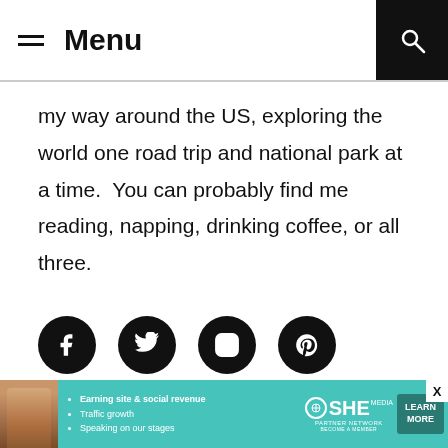Menu
my way around the US, exploring the world one road trip and national park at a time.  You can probably find me reading, napping, drinking coffee, or all three.
[Figure (infographic): Four social media icon circles (Facebook, Twitter, Instagram, Pinterest) in black on white background]
TOP POSTS TODAY
[Figure (infographic): SHE Media Partner Network advertisement banner with teal background, woman photo, bullet points about earning site & social revenue, traffic growth, speaking on our stages, SHE logo, and LEARN MORE button]